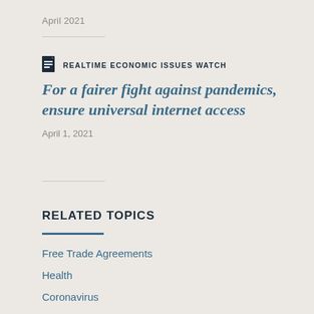April 2021
REALTIME ECONOMIC ISSUES WATCH
For a fairer fight against pandemics, ensure universal internet access
April 1, 2021
RELATED TOPICS
Free Trade Agreements
Health
Coronavirus